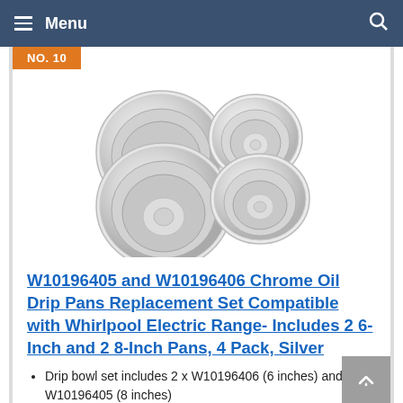Menu
NO. 10
[Figure (photo): Four chrome drip pans/bowls - 2 large (8-inch) and 2 small (6-inch) replacement set, silver colored, shown from above at a slight angle]
W10196405 and W10196406 Chrome Oil Drip Pans Replacement Set Compatible with Whirlpool Electric Range- Includes 2 6-Inch and 2 8-Inch Pans, 4 Pack, Silver
Drip bowl set includes 2 x W10196406 (6 inches) and 2 x W10196405 (8 inches)